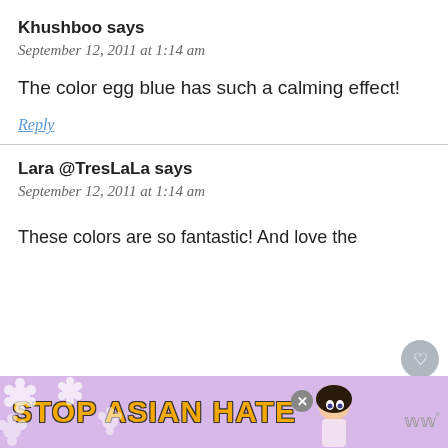Khushboo says
September 12, 2011 at 1:14 am
The color egg blue has such a calming effect!
Reply
Lara @TresLaLa says
September 12, 2011 at 1:14 am
These colors are so fantastic! And love the
[Figure (screenshot): STOP ASIAN HATE advertisement banner with floral background, anime character, and close button]
[Figure (infographic): WHAT'S NEXT panel showing '10 Healthy Packaged...' with thumbnail image]